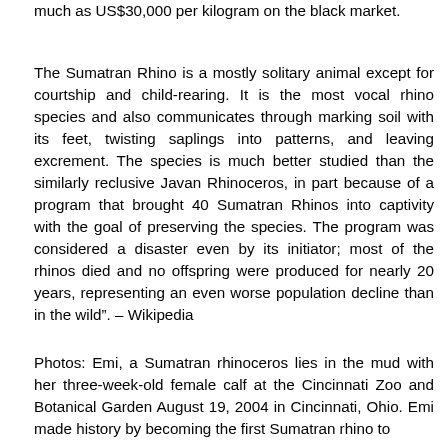much as US$30,000 per kilogram on the black market.
The Sumatran Rhino is a mostly solitary animal except for courtship and child-rearing. It is the most vocal rhino species and also communicates through marking soil with its feet, twisting saplings into patterns, and leaving excrement. The species is much better studied than the similarly reclusive Javan Rhinoceros, in part because of a program that brought 40 Sumatran Rhinos into captivity with the goal of preserving the species. The program was considered a disaster even by its initiator; most of the rhinos died and no offspring were produced for nearly 20 years, representing an even worse population decline than in the wild". – Wikipedia
Photos: Emi, a Sumatran rhinoceros lies in the mud with her three-week-old female calf at the Cincinnati Zoo and Botanical Garden August 19, 2004 in Cincinnati, Ohio. Emi made history by becoming the first Sumatran rhino to